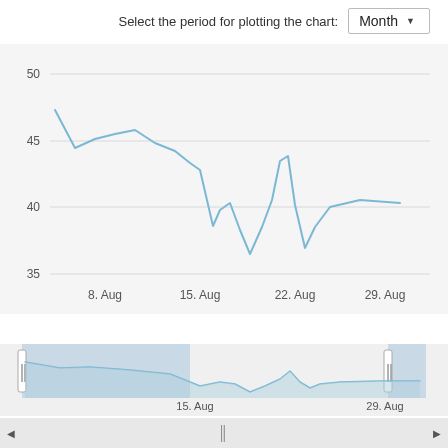Select the period for plotting the chart: Month
[Figure (continuous-plot): Line chart showing values declining from ~47 in early August to a low of ~36.5 around Aug 15, then recovering to ~43 by Aug 19, dropping to ~37 again around Aug 21, and recovering to ~40 by Aug 29. Y-axis: 35 to 50. X-axis: 8. Aug, 15. Aug, 22. Aug, 29. Aug.]
[Figure (continuous-plot): Minimap navigator showing the same line chart data in a smaller view with shaded selection area, labels 15. Aug and 29. Aug visible.]